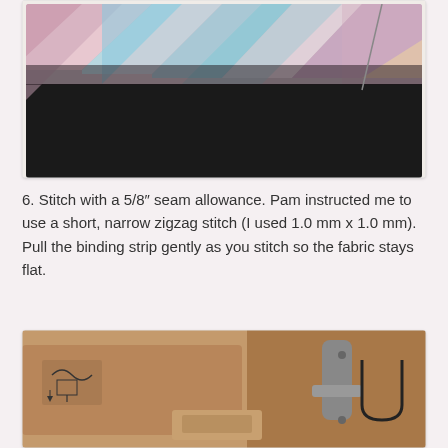[Figure (photo): Close-up photo of colorful striped fabric with black fabric underneath, showing a sewing/binding step. The top portion shows colorful diagonal stripes of pink, light blue, teal, and other colors, while the lower half is solid black fabric.]
6. Stitch with a 5/8″ seam allowance. Pam instructed me to use a short, narrow zigzag stitch (I used 1.0 mm x 1.0 mm). Pull the binding strip gently as you stitch so the fabric stays flat.
[Figure (photo): Close-up photo of a sewing machine presser foot on brown/tan fabric, showing the machine stitching a seam. Sewing machine diagrams/markings are visible on the machine body.]